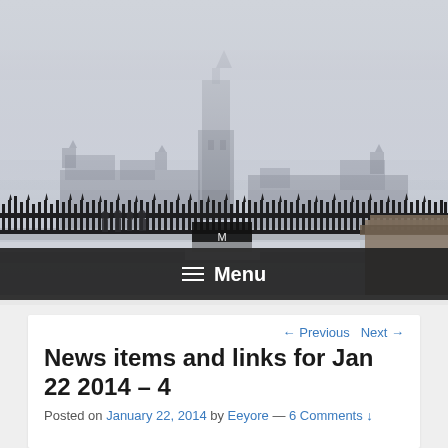[Figure (photo): Foggy/misty photograph of a large gothic-style building (Parliament Hill, Ottawa) seen behind ornate iron bridge railings, with a tall central tower barely visible through the fog. A construction sign is visible in the middle ground. People walk along the bridge railing.]
≡ Menu
← Previous   Next →
News items and links for Jan 22 2014 – 4
Posted on January 22, 2014 by Eeyore — 6 Comments ↓